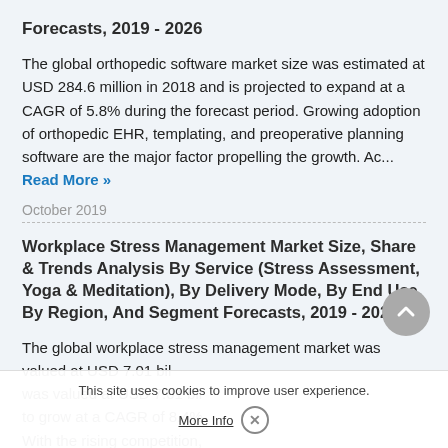Forecasts, 2019 - 2026
The global orthopedic software market size was estimated at USD 284.6 million in 2018 and is projected to expand at a CAGR of 5.8% during the forecast period. Growing adoption of orthopedic EHR, templating, and preoperative planning software are the major factor propelling the growth. Ac... Read More »
October 2019
Workplace Stress Management Market Size, Share & Trends Analysis By Service (Stress Assessment, Yoga & Meditation), By Delivery Mode, By End Use, By Region, And Segment Forecasts, 2019 - 2026
The global workplace stress management market was valued at USD 7.01 bil to grow at a CAGR of 8.4% With the rising competition, lot of pressure and excessive demands. Hence, stress